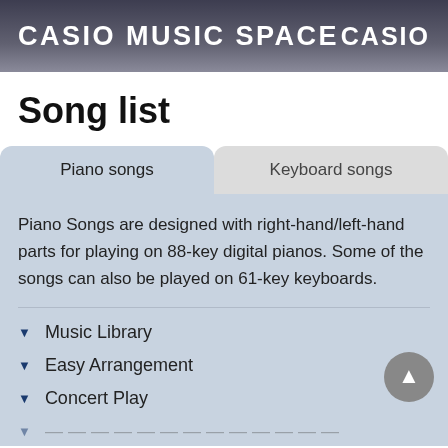CASIO MUSIC SPACE   CASIO
Song list
Piano songs
Keyboard songs
Piano Songs are designed with right-hand/left-hand parts for playing on 88-key digital pianos. Some of the songs can also be played on 61-key keyboards.
Music Library
Easy Arrangement
Concert Play